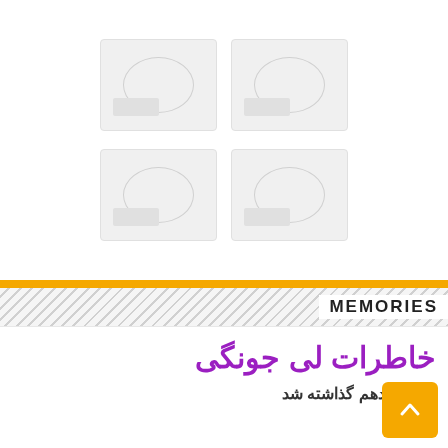[Figure (photo): Two image placeholders in a grid layout (top row), representing photos in a magazine or blog layout. Shown as light gray rectangles with placeholder icons.]
[Figure (photo): Two image placeholders in a grid layout (bottom row), representing photos in a magazine or blog layout. Shown as light gray rectangles with placeholder icons.]
MEMORIES
خاطرات لی جونگی
قسمت دهم گذاشته شد